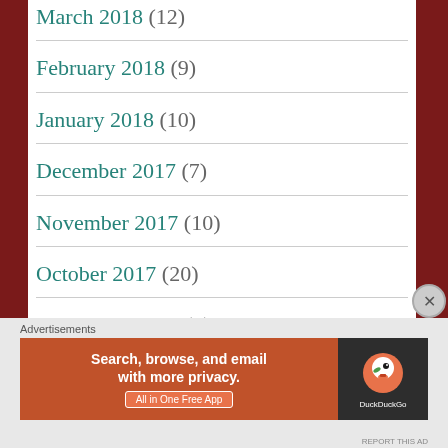March 2018 (12)
February 2018 (9)
January 2018 (10)
December 2017 (7)
November 2017 (10)
October 2017 (20)
September 2017 (9)
Advertisements
[Figure (screenshot): DuckDuckGo advertisement banner: 'Search, browse, and email with more privacy. All in One Free App' with DuckDuckGo duck logo on dark background]